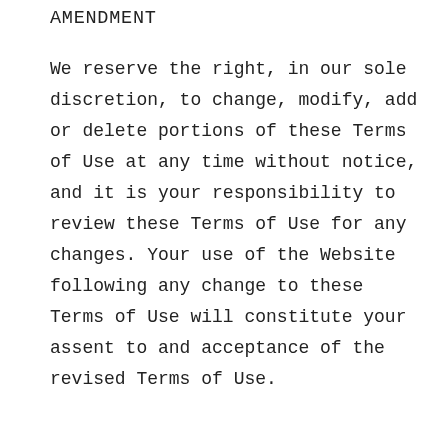AMENDMENT
We reserve the right, in our sole discretion, to change, modify, add or delete portions of these Terms of Use at any time without notice, and it is your responsibility to review these Terms of Use for any changes. Your use of the Website following any change to these Terms of Use will constitute your assent to and acceptance of the revised Terms of Use.